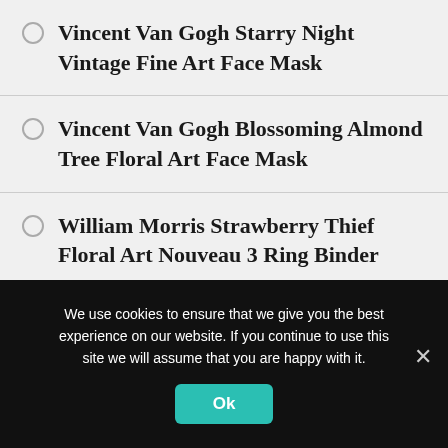Vincent Van Gogh Starry Night Vintage Fine Art Face Mask
Vincent Van Gogh Blossoming Almond Tree Floral Art Face Mask
William Morris Strawberry Thief Floral Art Nouveau 3 Ring Binder
Alphonse Mucha Moonlight Clair De Lune Art Nouveau Tissue Paper
We use cookies to ensure that we give you the best experience on our website. If you continue to use this site we will assume that you are happy with it.
Ok